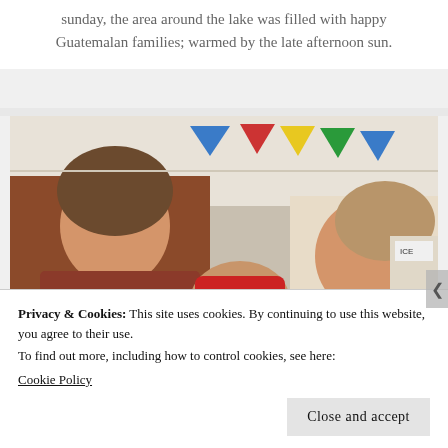sunday, the area around the lake was filled with happy Guatemalan families; warmed by the late afternoon sun.
[Figure (photo): Two young women eating at an outdoor market or festival under a tent with colorful bunting flags. A man in a red cap sits in the background.]
Privacy & Cookies: This site uses cookies. By continuing to use this website, you agree to their use.
To find out more, including how to control cookies, see here:
Cookie Policy